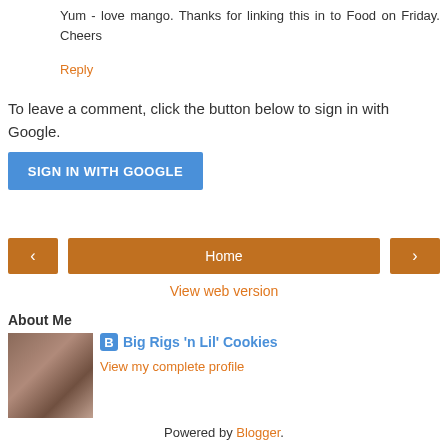Yum - love mango. Thanks for linking this in to Food on Friday. Cheers
Reply
To leave a comment, click the button below to sign in with Google.
SIGN IN WITH GOOGLE
[Figure (other): Navigation bar with left arrow button, Home button, and right arrow button in orange]
View web version
About Me
[Figure (photo): Profile photo of a woman]
Big Rigs 'n Lil' Cookies
View my complete profile
Powered by Blogger.